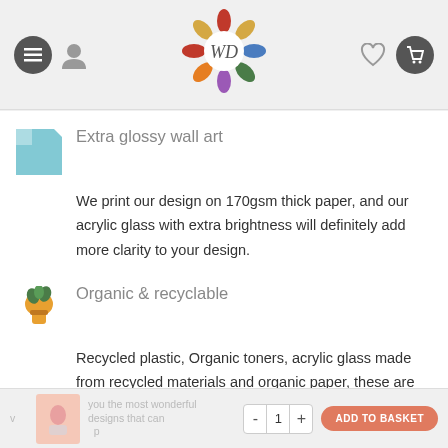Navigation header with menu, user icon, WD logo, heart and cart icons
Extra glossy wall art
We print our design on 170gsm thick paper, and our acrylic glass with extra brightness will definitely add more clarity to your design.
Organic & recyclable
Recycled plastic, Organic toners, acrylic glass made from recycled materials and organic paper, these are the materials on which we have made our posters for you.
Original Patterns
Majority of poster designs lack the sobriety of art,
you the most wonderful designs that can | - 1 + | ADD TO BASKET